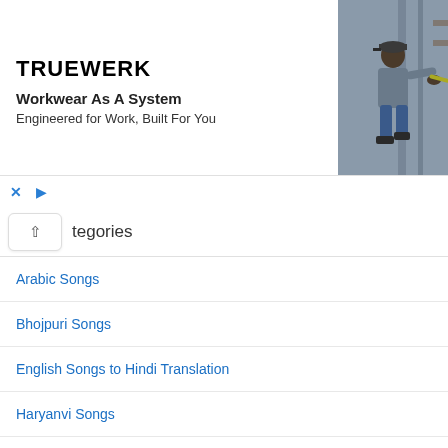[Figure (screenshot): TRUEWERK advertisement banner with logo, text 'Workwear As A System / Engineered for Work, Built For You', and a photo of a person working outdoors]
× ▷
tegories
Arabic Songs
Bhojpuri Songs
English Songs to Hindi Translation
Haryanvi Songs
Haryanvi Songs To English Translation
Haryanvi Sons To Hindi Translation
Hindi Song
Hindi songs
Hindi Songs To English Translation